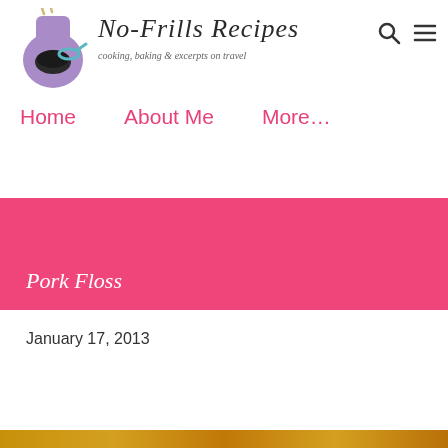No-Frills Recipes — cooking, baking & excerpts on travel
Home   About Me   More…
Pork Floss
January 17, 2013